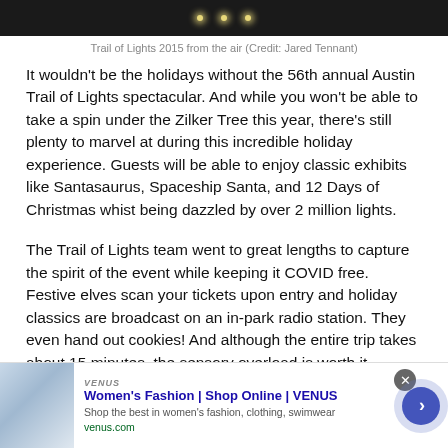[Figure (photo): Dark photo of Trail of Lights 2015 from the air, showing lights against a dark background]
Trail of Lights 2015 from the air (Credit: Jared Tennant)
It wouldn't be the holidays without the 56th annual Austin Trail of Lights spectacular. And while you won't be able to take a spin under the Zilker Tree this year, there's still plenty to marvel at during this incredible holiday experience. Guests will be able to enjoy classic exhibits like Santasaurus, Spaceship Santa, and 12 Days of Christmas whist being dazzled by over 2 million lights.
The Trail of Lights team went to great lengths to capture the spirit of the event while keeping it COVID free. Festive elves scan your tickets upon entry and holiday classics are broadcast on an in-park radio station. They even hand out cookies! And although the entire trip takes about 15 minutes, the sensory overload is worth it.
[Figure (screenshot): Advertisement banner: Women's Fashion | Shop Online | VENUS. Shop the best in women's fashion, clothing, swimwear. venus.com]